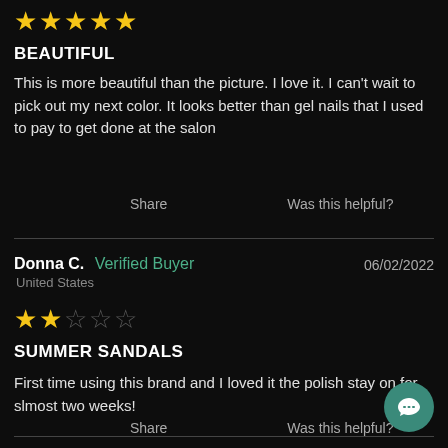[Figure (other): 5 filled yellow stars rating]
BEAUTIFUL
This is more beautiful than the picture. I love it. I can't wait to pick out my next color.  It looks better than gel nails that I used to pay to get done at the salon
Share    Was this helpful?
Donna C.  Verified Buyer    06/02/2022
United States
[Figure (other): 2 filled yellow stars and 3 empty stars rating (2 out of 5)]
SUMMER SANDALS
First time using this brand and I loved it the polish stay on for slmost two weeks!
Share    Was this helpful?